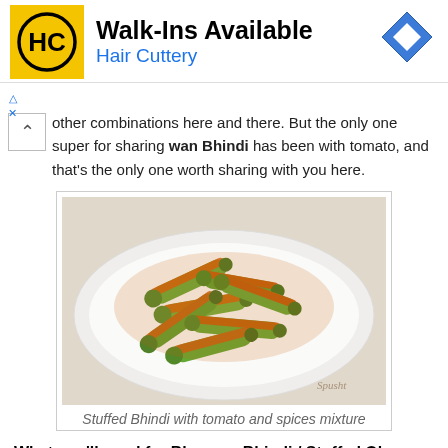[Figure (other): Hair Cuttery advertisement banner with logo and navigation icon. Text: Walk-Ins Available / Hair Cuttery]
other combinations here and there. But the only one super for sharing wan Bhindi has been with tomato, and that's the only one worth sharing with you here.
[Figure (photo): Photo of stuffed bhindi (okra) with tomato and spices mixture on a white plate]
Stuffed Bhindi with tomato and spices mixture
What you'll need for Bharwan Bhindi / Stuffed Okra Masala / Stuffed Lady Fingers:
Serves only 2 hungry bhindi lovers like us